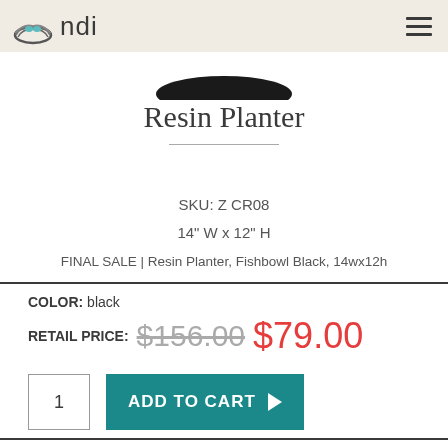[Figure (logo): NDI brand logo with nest icon and 'ndi' text]
[Figure (photo): Partial view of a black fishbowl resin planter (cropped at top)]
Resin Planter
SKU: Z CR08
14" W x 12" H
FINAL SALE | Resin Planter, Fishbowl Black, 14wx12h
COLOR: black
RETAIL PRICE: $156.00 $79.00
1
ADD TO CART